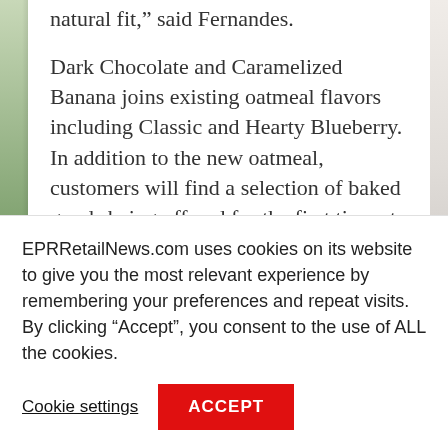natural fit,” said Fernandes.
Dark Chocolate and Caramelized Banana joins existing oatmeal flavors including Classic and Hearty Blueberry. In addition to the new oatmeal, customers will find a selection of baked goods being offered for the first time at Starbucks.
Caramelized Apple Pound Cake
EPRRetailNews.com uses cookies on its website to give you the most relevant experience by remembering your preferences and repeat visits. By clicking “Accept”, you consent to the use of ALL the cookies.
Cookie settings
ACCEPT